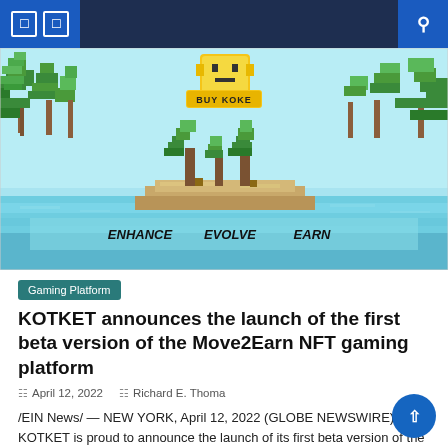Navigation bar with icons
[Figure (illustration): Pixel art game banner showing a tropical island scene with palm trees, water, a monkey character with 'BUY KOKE' button, and text 'ENHANCE EVOLVE EARN']
Gaming Platform
KOTKET announces the launch of the first beta version of the Move2Earn NFT gaming platform
April 12, 2022   Richard E. Thoma
/EIN News/ — NEW YORK, April 12, 2022 (GLOBE NEWSWIRE) — KOTKET is proud to announce the launch of its first beta version of the Move2Earn NFT gaming platform. KOTKET is a